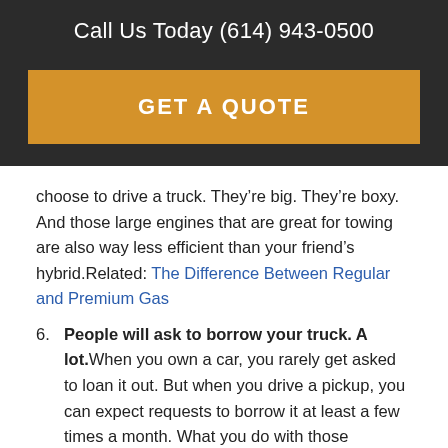Call Us Today (614) 943-0500
GET A QUOTE
choose to drive a truck. They’re big. They’re boxy. And those large engines that are great for towing are also way less efficient than your friend’s hybrid.Related: The Difference Between Regular and Premium Gas
6. People will ask to borrow your truck. A lot. When you own a car, you rarely get asked to loan it out. But when you drive a pickup, you can expect requests to borrow it at least a few times a month. What you do with those requests is up to you. Just